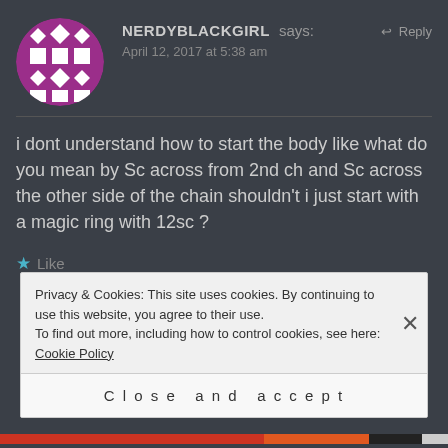[Figure (illustration): Round avatar with purple and white geometric diamond/square pattern on purple background]
NERDYBLACKGIRL says: ↩ Reply
April 12, 2017 at 5:38 am
i dont understand how to start the body like what do you mean by Sc across from 2nd ch and Sc across the other side of the chain shouldn't i just start with a magic ring with 12sc ?
★ Like
Privacy & Cookies: This site uses cookies. By continuing to use this website, you agree to their use.
To find out more, including how to control cookies, see here: Cookie Policy
Close and accept